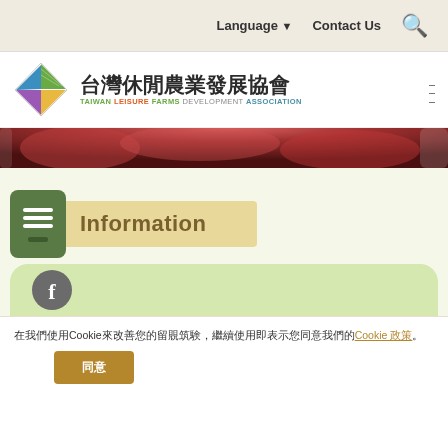Language ▼   Contact Us   🔍
台灣休閒農業發展協會 TAIWAN LEISURE FARMS DEVELOPMENT ASSOCIATION
[Figure (screenshot): Cropped hero image showing red fruit/flower close-up]
Information
[Figure (illustration): Facebook icon circle in a light green card]
我們使用Cookie來改善您的瀏覽體驗，繼續使用即表示您同意我們的Cookie 政策。
同意